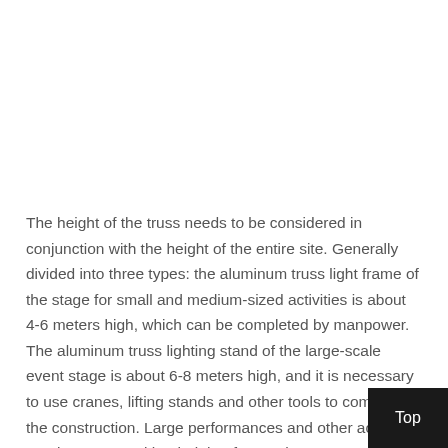The height of the truss needs to be considered in conjunction with the height of the entire site. Generally divided into three types: the aluminum truss light frame of the stage for small and medium-sized activities is about 4-6 meters high, which can be completed by manpower. The aluminum truss lighting stand of the large-scale event stage is about 6-8 meters high, and it is necessary to use cranes, lifting stands and other tools to complete the construction. Large performances and other activities require trusses with a height of more than 8 meters. Because the height of the aluminum truss will